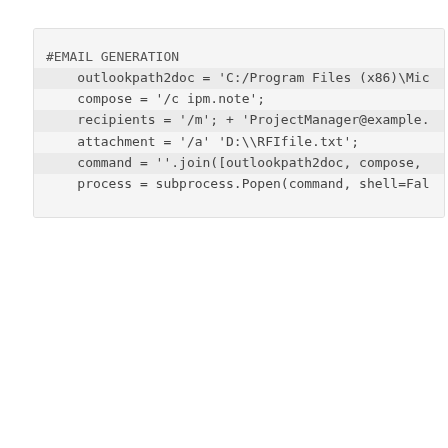#EMAIL GENERATION
    outlookpath2doc = 'C:/Program Files (x86)\Mic
    compose = '/c ipm.note';
    recipients = '/m'; + 'ProjectManager@example.
    attachment = '/a' 'D:\\RFIfile.txt';
    command = ''.join([outlookpath2doc, compose,
    process = subprocess.Popen(command, shell=Fal